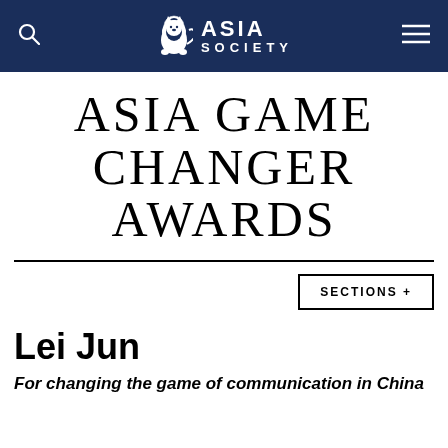ASIA SOCIETY
ASIA GAME CHANGER AWARDS
SECTIONS +
Lei Jun
For changing the game of communication in China